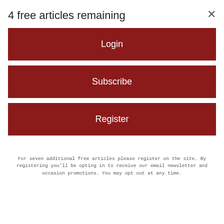4 free articles remaining
Login
Subscribe
Register
For seven additional free articles please register on the site. By registering you'll be opting in to receive our email newsletter and occasion promotions. You may opt out at any time.
[Figure (photo): Person holding credit card with teal background]
Hands Down the Top Credit Card of 2022